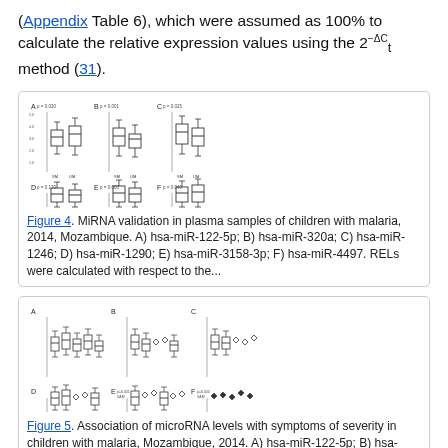(Appendix Table 6), which were assumed as 100% to calculate the relative expression values using the 2^{-ΔC_t} method (31).
[Figure (other): Six panel figure (A-F) showing MiRNA validation box plots in plasma samples of children with malaria, 2014, Mozambique.]
Figure 4. MiRNA validation in plasma samples of children with malaria, 2014, Mozambique. A) hsa-miR-122-5p; B) hsa-miR-320a; C) hsa-miR-1246; D) hsa-miR-1290; E) hsa-miR-3158-3p; F) hsa-miR-4497. RELs were calculated with respect to the...
[Figure (other): Six panel figure (A-F) showing association of microRNA levels with symptoms of severity in children with malaria, Mozambique, 2014.]
Figure 5. Association of microRNA levels with symptoms of severity in children with malaria, Mozambique, 2014. A) hsa-miR-122-5p; B) hsa-miR-320a; C) hsa-miR-1246; D) hsa-miR-1290; E) hsa-miR-3158-3p; F) hsa-miR-4497. RELs were calculated with...